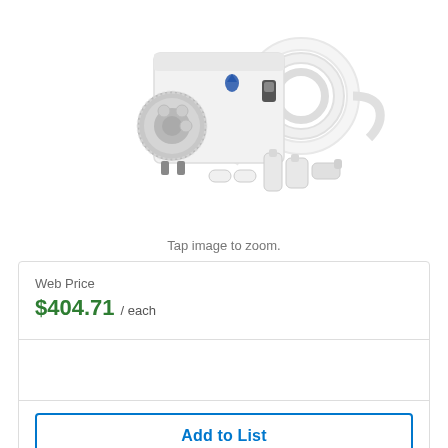[Figure (photo): Peristaltic pump with tubing coil and white fittings/connectors on white background]
Tap image to zoom.
Web Price
$404.71 / each
Add to List